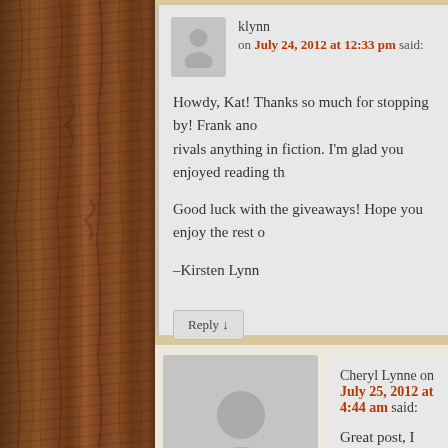klynn on July 24, 2012 at 12:33 pm said:
Howdy, Kat! Thanks so much for stopping by! Frank and rivals anything in fiction. I'm glad you enjoyed reading th
Good luck with the giveaways! Hope you enjoy the rest o
–Kirsten Lynn
Reply ↓
Cheryl Lynne on July 25, 2012 at 4:44 am said:
Great post, I really enjoyed reading it. I love the old letters a